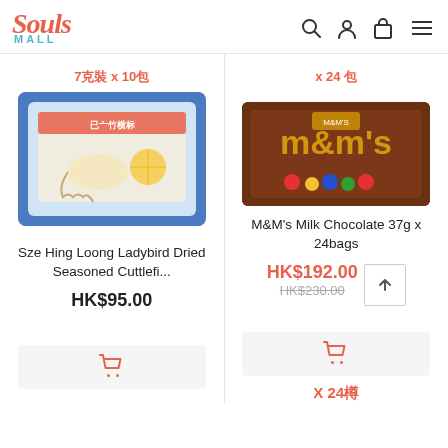Souls Mall
7克裝 x 10包
[Figure (photo): Sze Hing Loong Ladybird brand dried seasoned cuttlefish product in blue packaging with Japanese/Chinese text and squid illustration]
Sze Hing Loong Ladybird Dried Seasoned Cuttlefi...
HK$95.00
[Figure (photo): M&M's Milk Chocolate brown candy package with colorful M&M characters]
x 24 包
M&M's Milk Chocolate 37g x 24bags
HK$192.00
HK$230.00
X 24樽